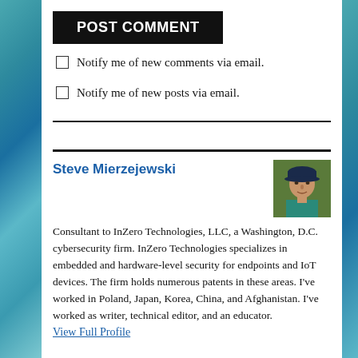POST COMMENT
Notify me of new comments via email.
Notify me of new posts via email.
Steve Mierzejewski
[Figure (photo): Headshot of Steve Mierzejewski wearing a dark cap and teal shirt, outdoors]
Consultant to InZero Technologies, LLC, a Washington, D.C. cybersecurity firm. InZero Technologies specializes in embedded and hardware-level security for endpoints and IoT devices. The firm holds numerous patents in these areas. I've worked in Poland, Japan, Korea, China, and Afghanistan. I've worked as writer, technical editor, and an educator.
View Full Profile